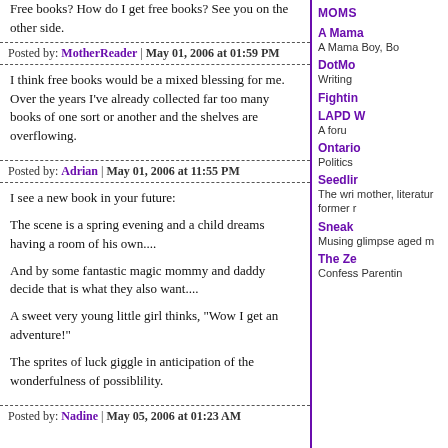Free books? How do I get free books? See you on the other side.
Posted by: MotherReader | May 01, 2006 at 01:59 PM
I think free books would be a mixed blessing for me. Over the years I've already collected far too many books of one sort or another and the shelves are overflowing.
Posted by: Adrian | May 01, 2006 at 11:55 PM
I see a new book in your future:
The scene is a spring evening and a child dreams having a room of his own....
And by some fantastic magic mommy and daddy decide that is what they also want....
A sweet very young little girl thinks, "Wow I get an adventure!"
The sprites of luck giggle in anticipation of the wonderfulness of possiblility.
Posted by: Nadine | May 05, 2006 at 01:23 AM
MOMS
A Mama
A Mama Boy, Bo
DotMo
Writing
Fightin
LAPD W
A foru
Ontario
Politics
Seedlir
The wri mother, literatur former r
Sneak
Musing glimpse aged m
The Ze
Confess Parentin